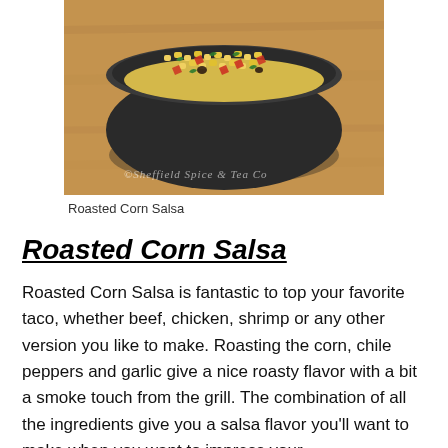[Figure (photo): A dark bowl filled with roasted corn salsa featuring corn kernels, red tomato pieces, green peppers, and other colorful vegetables on a wooden surface. A watermark reads '©Sheffield Spice & Tea Co'.]
Roasted Corn Salsa
Roasted Corn Salsa
Roasted Corn Salsa is fantastic to top your favorite taco, whether beef, chicken, shrimp or any other version you like to make. Roasting the corn, chile peppers and garlic give a nice roasty flavor with a bit a smoke touch from the grill. The combination of all the ingredients give you a salsa flavor you'll want to make when you want to impress your